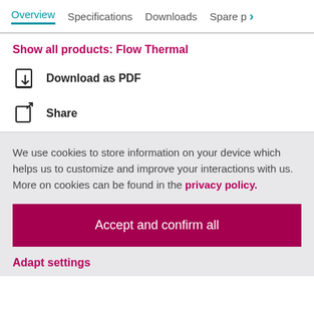Overview  Specifications  Downloads  Spare p >
Show all products: Flow Thermal
Download as PDF
Share
We use cookies to store information on your device which helps us to customize and improve your interactions with us. More on cookies can be found in the privacy policy.
Accept and confirm all
Adapt settings